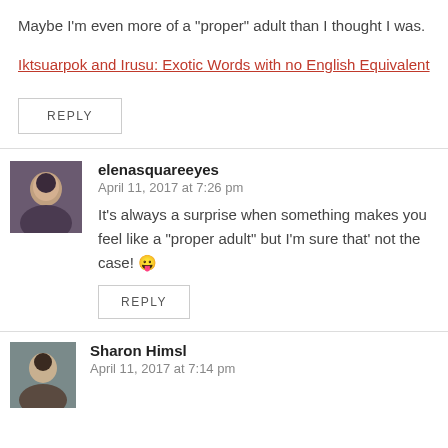Maybe I’m even more of a “proper” adult than I thought I was.
Iktsuarpok and Irusu: Exotic Words with no English Equivalent
REPLY
elenasquareeyes
April 11, 2017 at 7:26 pm
It’s always a surprise when something makes you feel like a “proper adult” but I’m sure that’ not the case! 😛
REPLY
Sharon Himsl
April 11, 2017 at 7:14 pm